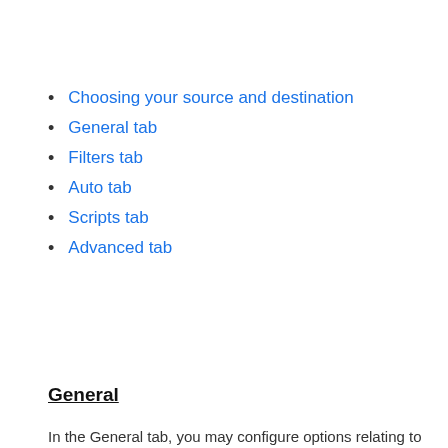Choosing your source and destination
General tab
Filters tab
Auto tab
Scripts tab
Advanced tab
General
In the General tab, you may configure options relating to